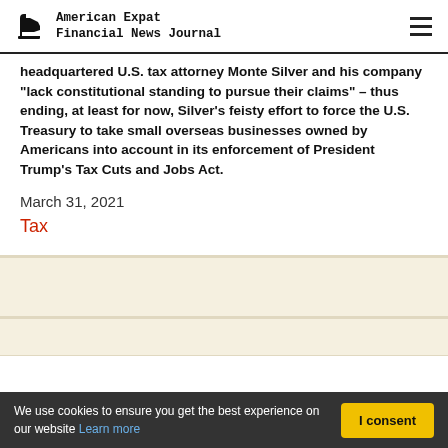American Expat Financial News Journal
headquartered U.S. tax attorney Monte Silver and his company "lack constitutional standing to pursue their claims" – thus ending, at least for now, Silver's feisty effort to force the U.S. Treasury to take small overseas businesses owned by Americans into account in its enforcement of President Trump's Tax Cuts and Jobs Act.
March 31, 2021
Tax